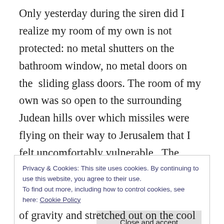Only yesterday during the siren did I realize my room of my own is not protected: no metal shutters on the bathroom window, no metal doors on the sliding glass doors. The room of my own was so open to the surrounding Judean hills over which missiles were flying on their way to Jerusalem that I felt uncomfortably vulnerable. The Home Front Command had instructed citizens in a building with neither a protected room, a stairwell nor a bomb shelter, to lie on the floor, face down, arms covering the head.
Privacy & Cookies: This site uses cookies. By continuing to use this website, you agree to their use.
To find out more, including how to control cookies, see here: Cookie Policy
[Close and accept]
of gravity and stretched out on the cool floor, grateful this